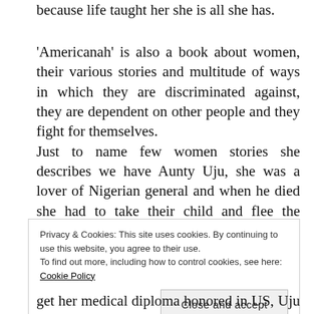because life taught her she is all she has.
'Americanah' is also a book about women, their various stories and multitude of ways in which they are discriminated against, they are dependent on other people and they fight for themselves.
Just to name few women stories she describes we have Aunty Uju, she was a lover of Nigerian general and when he died she had to take their child and flee the country, to run from revenge of the widow. In US she
Privacy & Cookies: This site uses cookies. By continuing to use this website, you agree to their use.
To find out more, including how to control cookies, see here: Cookie Policy
Close and accept
get her medical diploma honored in US, Uju is the